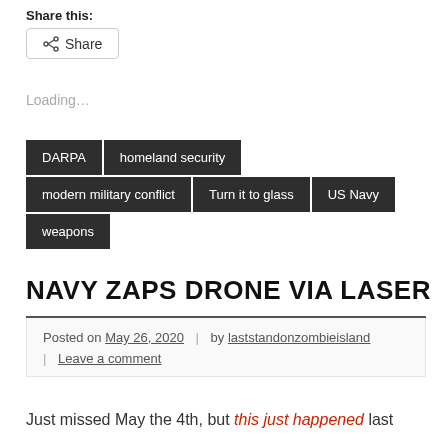Share this:
Share
Loading...
DARPA
homeland security
modern military conflict
Turn it to glass
US Navy
weapons
NAVY ZAPS DRONE VIA LASER
Posted on May 26, 2020 | by laststandonzombieisland | Leave a comment
Just missed May the 4th, but this just happened last